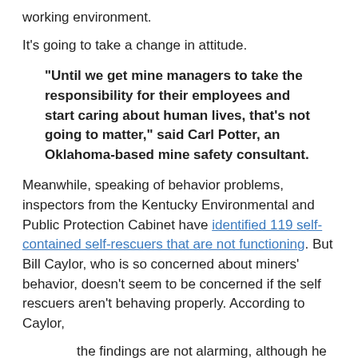working environment.
It's going to take a change in attitude.
"Until we get mine managers to take the responsibility for their employees and start caring about human lives, that's not going to matter," said Carl Potter, an Oklahoma-based mine safety consultant.
Meanwhile, speaking of behavior problems, inspectors from the Kentucky Environmental and Public Protection Cabinet have identified 119 self-contained self-rescuers that are not functioning. But Bill Caylor, who is so concerned about miners' behavior, doesn't seem to be concerned if the self rescuers aren't behaving properly. According to Caylor,
the findings are not alarming, although he said they suggest that miners, mine companies and inspectors need to check the devices more frequently.
"I don't think it is dire to...